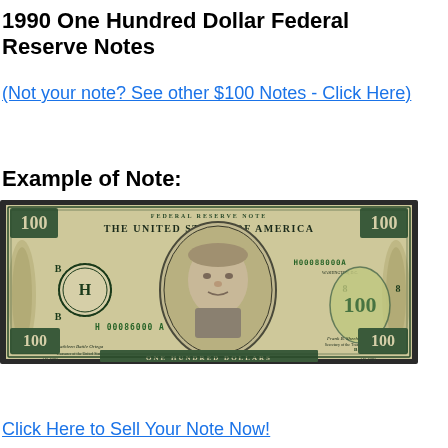1990 One Hundred Dollar Federal Reserve Notes
(Not your note? See other $100 Notes - Click Here)
Example of Note:
[Figure (photo): Front face of a 1990 Series $100 Federal Reserve Note featuring Benjamin Franklin, serial number H00088000A, Federal Reserve District H (St. Louis), with green and black ink on cream paper.]
Click Here to Sell Your Note Now!